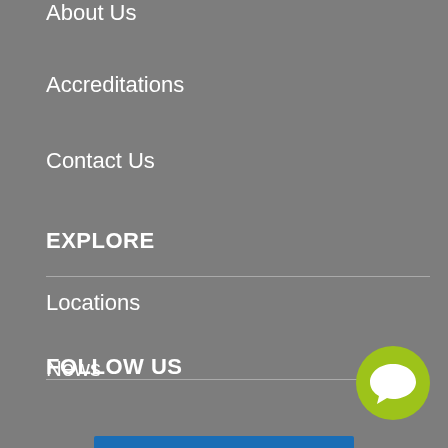About Us
Accreditations
Contact Us
EXPLORE
Locations
News
Testimonials
FOLLOW US
[Figure (illustration): Green circular chat/messaging button icon in bottom right corner]